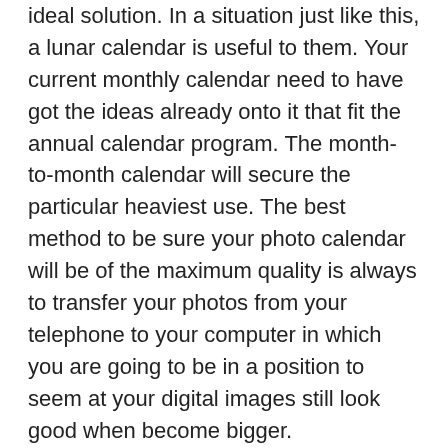ideal solution. In a situation just like this, a lunar calendar is useful to them. Your current monthly calendar need to have got the ideas already onto it that fit the annual calendar program. The month-to-month calendar will secure the particular heaviest use. The best method to be sure your photo calendar will be of the maximum quality is always to transfer your photos from your telephone to your computer in which you are going to be in a position to seem at your digital images still look good when become bigger.
While the most favored kinds of calendars are every week, therefore, we'll be discussing about the two main forms of weekly calendars below.